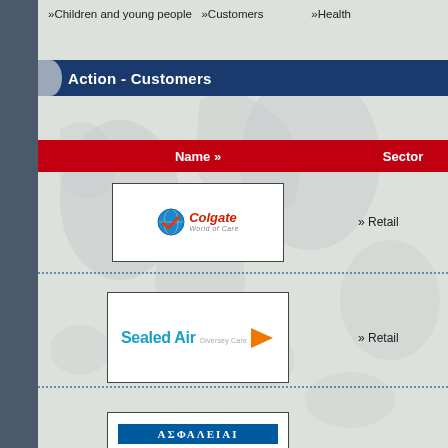»Children and young people  »Customers  »Health
Action - Customers
| Name » | Sector |
| --- | --- |
| [Colgate World of Care logo] | » Retail |
| [Sealed Air Diversey Care logo] | » Retail |
| [ΑΣΦΑΛΕΙΑΙ logo] |  |